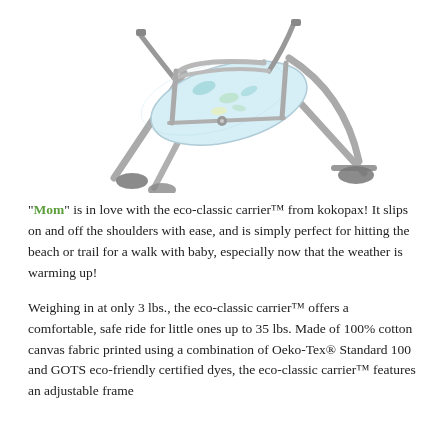[Figure (photo): A baby carrier product (eco-classic carrier by kokopax) shown disassembled or flat, with gray metal frame/legs, blue and white patterned fabric seat with floral/leaf print, and gray harness straps. The frame has four legs with rubber feet.]
"Mom" is in love with the eco-classic carrier™ from kokopax! It slips on and off the shoulders with ease, and is simply perfect for hitting the beach or trail for a walk with baby, especially now that the weather is warming up!
Weighing in at only 3 lbs., the eco-classic carrier™ offers a comfortable, safe ride for little ones up to 35 lbs. Made of 100% cotton canvas fabric printed using a combination of Oeko-Tex® Standard 100 and GOTS eco-friendly certified dyes, the eco-classic carrier™ features an adjustable frame